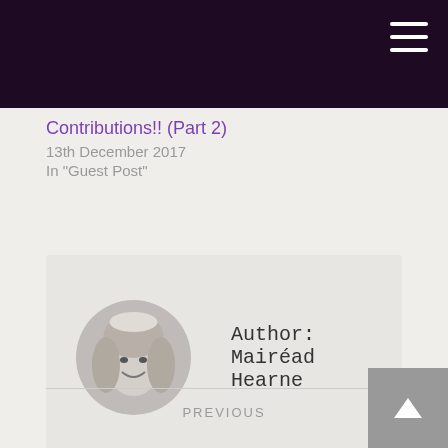Contributions!! (Part 2)
13th December 2017
In "Guest Post"
[Figure (photo): Circular black and white portrait photo of author Mairead Hearne, a young woman with long light hair, smiling]
Author: Mairéad Hearne
PREVIOUS
"Bookreviews, Feminism and Other Stories..."